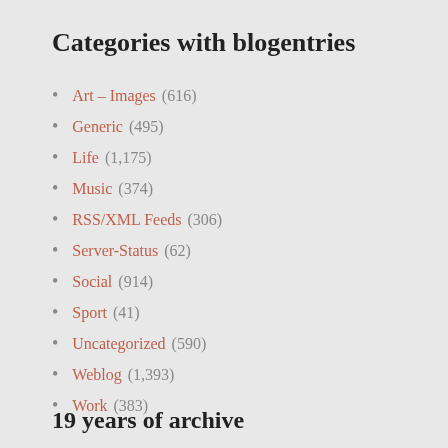Categories with blogentries
Art – Images (616)
Generic (495)
Life (1,175)
Music (374)
RSS/XML Feeds (306)
Server-Status (62)
Social (914)
Sport (41)
Uncategorized (590)
Weblog (1,393)
Work (383)
19 years of archive